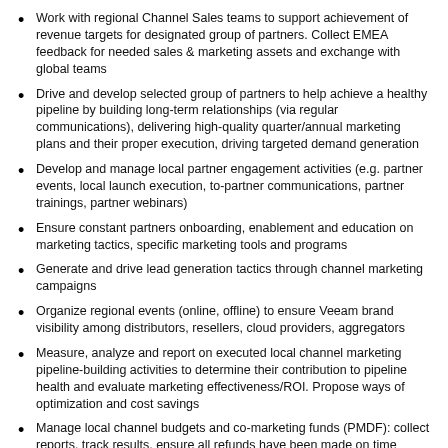Work with regional Channel Sales teams to support achievement of revenue targets for designated group of partners. Collect EMEA feedback for needed sales & marketing assets and exchange with global teams
Drive and develop selected group of partners to help achieve a healthy pipeline by building long-term relationships (via regular communications), delivering high-quality quarter/annual marketing plans and their proper execution, driving targeted demand generation
Develop and manage local partner engagement activities (e.g. partner events, local launch execution, to-partner communications, partner trainings, partner webinars)
Ensure constant partners onboarding, enablement and education on marketing tactics, specific marketing tools and programs
Generate and drive lead generation tactics through channel marketing campaigns
Organize regional events (online, offline) to ensure Veeam brand visibility among distributors, resellers, cloud providers, aggregators
Measure, analyze and report on executed local channel marketing pipeline-building activities to determine their contribution to pipeline health and evaluate marketing effectiveness/ROI. Propose ways of optimization and cost savings
Manage local channel budgets and co-marketing funds (PMDF): collect reports, track results, ensure all refunds have been made on time
Regularly research and analyze the region, provide SWOT analysis and development plan